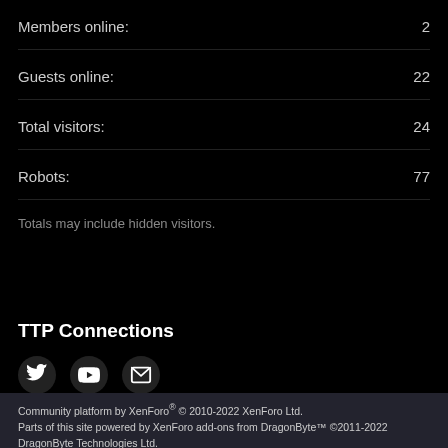Members online: 2
Guests online: 22
Total visitors: 24
Robots: 77
Totals may include hidden visitors.
TTP Connections
[Figure (other): Social media icons: Twitter bird, YouTube play button, Email envelope]
Community platform by XenForo® © 2010-2022 XenForo Ltd. Parts of this site powered by XenForo add-ons from DragonByte™ ©2011-2022 DragonByte Technologies Ltd. (Details)